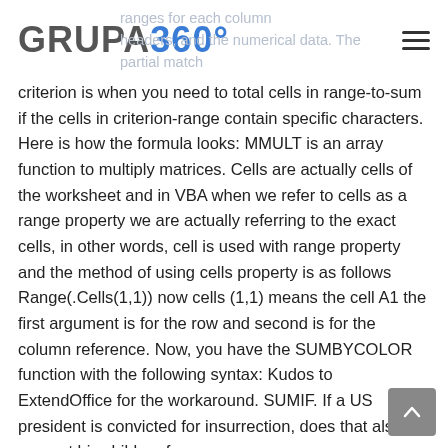GRUPA 360°
sheets into a master sheet. I'd simply use VBA to ranges for each column headers, and the numerical data. The partial match criterion is when you need to total cells in range-to-sum if the cells in criterion-range contain specific characters. Here is how the formula looks: MMULT is an array function to multiply matrices. Cells are actually cells of the worksheet and in VBA when we refer to cells as a range property we are actually referring to the exact cells, in other words, cell is used with range property and the method of using cells property is as follows Range(.Cells(1,1)) now cells (1,1) means the cell A1 the first argument is for the row and second is for the column reference. Now, you have the SUMBYCOLOR function with the following syntax: Kudos to ExtendOffice for the workaround. SUMIF. If a US president is convicted for insurrection, does that also prevent his children from